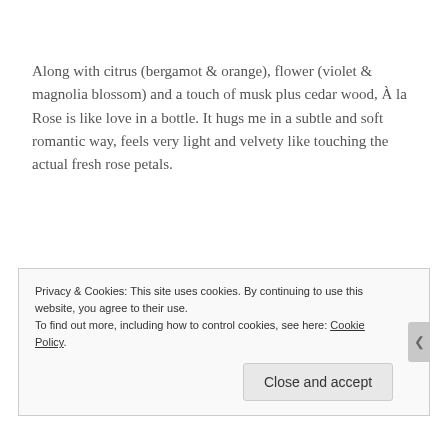Along with citrus (bergamot & orange), flower (violet & magnolia blossom) and a touch of musk plus cedar wood, À la Rose is like love in a bottle. It hugs me in a subtle and soft romantic way, feels very light and velvety like touching the actual fresh rose petals.
Photo: Shinta Rosvita
Privacy & Cookies: This site uses cookies. By continuing to use this website, you agree to their use.
To find out more, including how to control cookies, see here: Cookie Policy